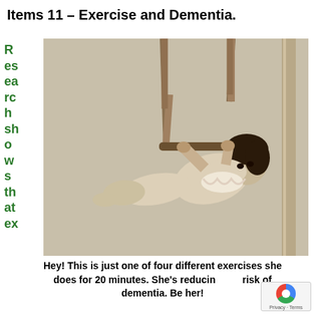Items 11 – Exercise and Dementia.
Research shows that ex
[Figure (photo): Vintage black and white photograph of a young woman performing aerial gymnastics on rings, wearing a ruffled leotard, suspended in the air with arms extended holding the rings.]
Hey! This is just one of four different exercises she does for 20 minutes. She's reducing risk of dementia. Be her!